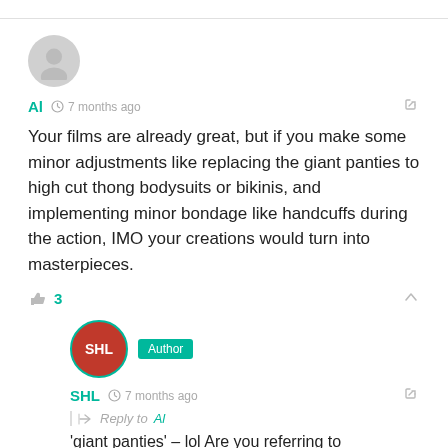Al  7 months ago
Your films are already great, but if you make some minor adjustments like replacing the giant panties to high cut thong bodysuits or bikinis, and implementing minor bondage like handcuffs during the action, IMO your creations would turn into masterpieces.
3
SHL  Author  7 months ago
Reply to Al
'giant panties' – lol Are you referring to